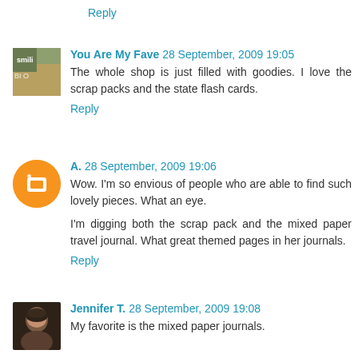Reply
You Are My Fave  28 September, 2009 19:05
The whole shop is just filled with goodies. I love the scrap packs and the state flash cards.
Reply
A.  28 September, 2009 19:06
Wow. I'm so envious of people who are able to find such lovely pieces. What an eye.
I'm digging both the scrap pack and the mixed paper travel journal. What great themed pages in her journals.
Reply
Jennifer T.  28 September, 2009 19:08
My favorite is the mixed paper journals.